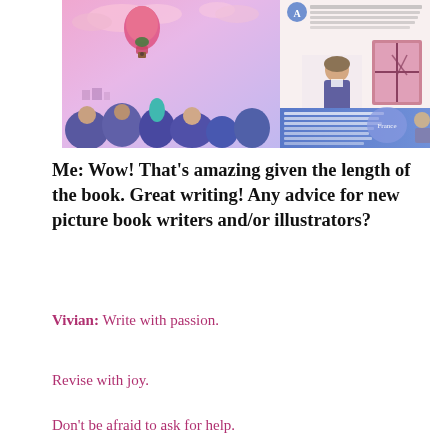[Figure (illustration): Illustrated spread from a children's picture book about Joseph Montgolfier, showing colorful scenes with a hot air balloon, a crowd of people, a figure looking out of a window, a map of France, and descriptive text panels.]
Me: Wow!  That's amazing given the length of the book.  Great writing!  Any advice for new picture book writers and/or illustrators?
Vivian: Write with passion.
Revise with joy.
Don't be afraid to ask for help.